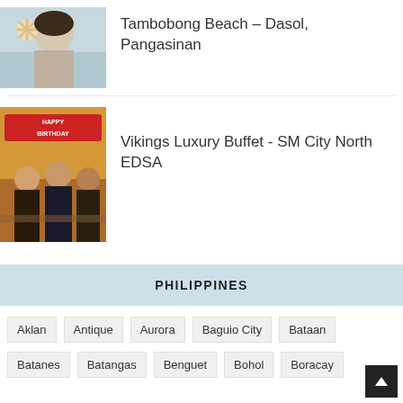[Figure (photo): Person holding a starfish up to their face, smiling, beach setting]
Tambobong Beach – Dasol, Pangasinan
[Figure (photo): Group of people at a restaurant with Happy Birthday banner, warm lighting]
Vikings Luxury Buffet - SM City North EDSA
PHILIPPINES
Aklan
Antique
Aurora
Baguio City
Bataan
Batanes
Batangas
Benguet
Bohol
Boracay